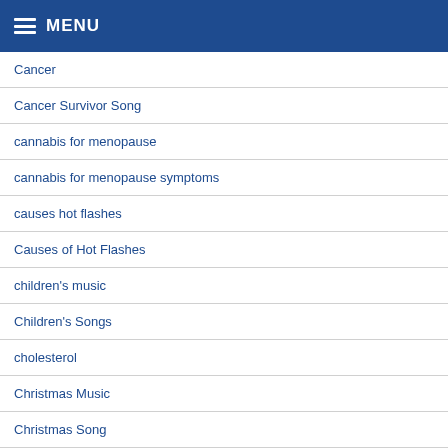MENU
Cancer
Cancer Survivor Song
cannabis for menopause
cannabis for menopause symptoms
causes hot flashes
Causes of Hot Flashes
children's music
Children's Songs
cholesterol
Christmas Music
Christmas Song
Chronic illness